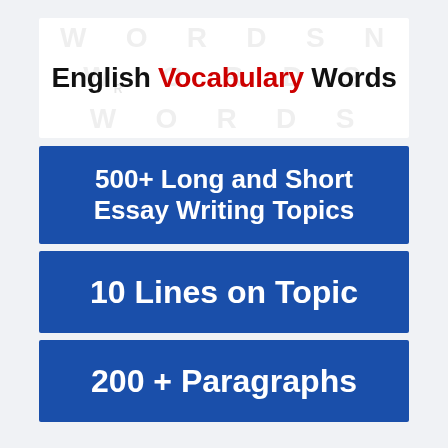[Figure (illustration): Banner with faded 'WORDS' text repeated in background and 'English Vocabulary Words' title in black and red bold text on white background]
500+ Long and Short Essay Writing Topics
10 Lines on Topic
200 + Paragraphs